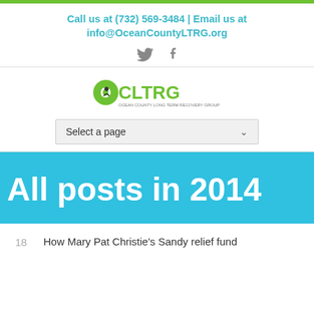Call us at (732) 569-3484 | Email us at info@OceanCountyLTRG.org
[Figure (logo): OCLTRG logo — Ocean County Long Term Recovery Group]
Select a page
All posts in 2014
18  How Mary Pat Christie's Sandy relief fund